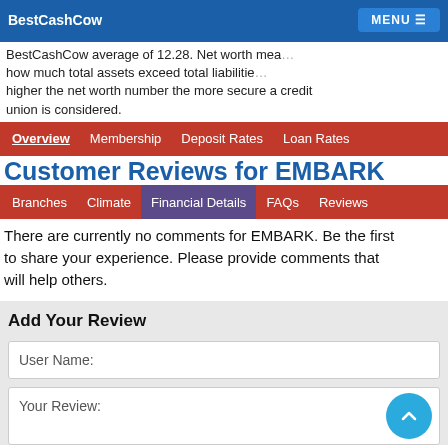BestCashCow  MENU
BestCashCow average of 12.28. Net worth measures how much total assets exceed total liabilities. The higher the net worth number the more secure a credit union is considered.
Overview  Membership  Deposit Rates  Loan Rates
Customer Reviews for EMBARK
Branches  Climate  Financial Details  FAQs  Reviews
There are currently no comments for EMBARK. Be the first to share your experience. Please provide comments that will help others.
Add Your Review
User Name:
Your Review: